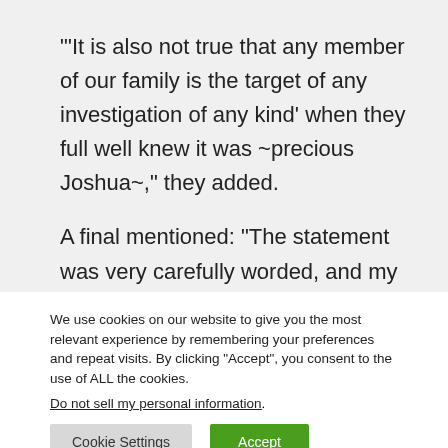"'It is also not true that any member of our family is the target of any investigation of any kind' when they full well knew it was ~precious Joshua~," they added.
A final mentioned: “The statement was very carefully worded, and my theory is that Josh told
We use cookies on our website to give you the most relevant experience by remembering your preferences and repeat visits. By clicking “Accept”, you consent to the use of ALL the cookies.
Do not sell my personal information.